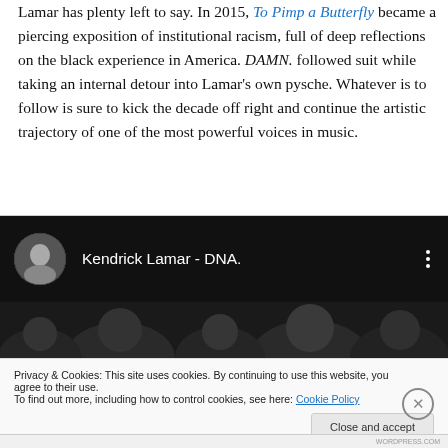Lamar has plenty left to say. In 2015, To Pimp a Butterfly became a piercing exposition of institutional racism, full of deep reflections on the black experience in America. DAMN. followed suit while taking an internal detour into Lamar's own pysche. Whatever is to follow is sure to kick the decade off right and continue the artistic trajectory of one of the most powerful voices in music.
[Figure (screenshot): Embedded YouTube video player showing 'Kendrick Lamar - DNA.' with dark background, circular avatar thumbnail, three-dot menu icon, and partial video preview showing faces.]
Privacy & Cookies: This site uses cookies. By continuing to use this website, you agree to their use. To find out more, including how to control cookies, see here: Cookie Policy